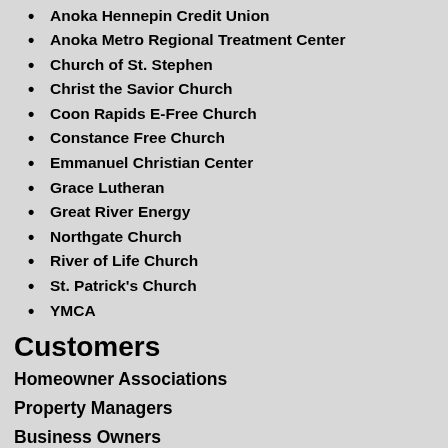Anoka Hennepin Credit Union
Anoka Metro Regional Treatment Center
Church of St. Stephen
Christ the Savior Church
Coon Rapids E-Free Church
Constance Free Church
Emmanuel Christian Center
Grace Lutheran
Great River Energy
Northgate Church
River of Life Church
St. Patrick's Church
YMCA
Customers
Homeowner Associations
Property Managers
Business Owners